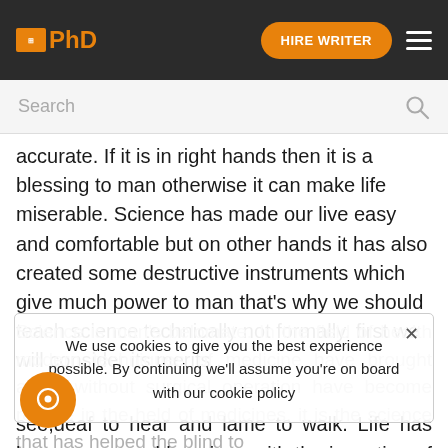PhD | HIRE WRITER
accurate. If it is in right hands then it is a blessing to man otherwise it can make life miserable. Science has made our live easy and comfortable but on other hands it has also created some destructive instruments which give much power to man that's why we should teach science technically not formally. first we will consider its merits .
Science is man's belomate. In the field of health modern techniques of medicine have brought about without surgical operation have become routine in the held of medicines. it is the science that has helped the blind to see,deaf to hear and lame to walk. Life has been oTeasy and luxurious with the invention of many types of machines i. e air conditione...
We use cookies to give you the best experience possible. By continuing we'll assume you're on board with our cookie policy